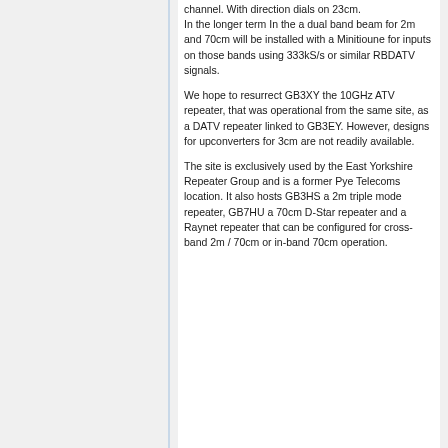channel. With direction dials on 23cm. In the longer term In the a dual band beam for 2m and 70cm will be installed with a Minitioune for inputs on those bands using 333kS/s or similar RBDATV signals.
We hope to resurrect GB3XY the 10GHz ATV repeater, that was operational from the same site, as a DATV repeater linked to GB3EY. However, designs for upconverters for 3cm are not readily available.
The site is exclusively used by the East Yorkshire Repeater Group and is a former Pye Telecoms location. It also hosts GB3HS a 2m triple mode repeater, GB7HU a 70cm D-Star repeater and a Raynet repeater that can be configured for cross-band 2m / 70cm or in-band 70cm operation.